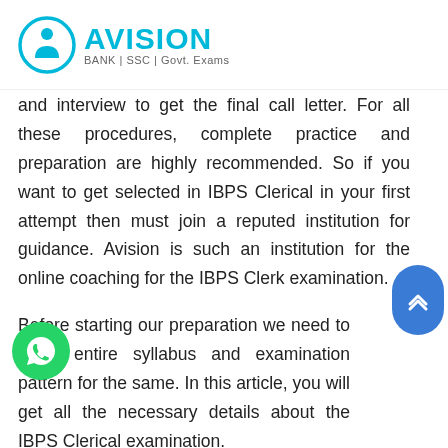Avision — BANK | SSC | Govt. Exams
and interview to get the final call letter. For all these procedures, complete practice and preparation are highly recommended. So if you want to get selected in IBPS Clerical in your first attempt then must join a reputed institution for guidance. Avision is such an institution for the online coaching for the IBPS Clerk examination.
Before starting our preparation we need to know entire syllabus and examination pattern for the same. In this article, you will get all the necessary details about the IBPS Clerical examination.
Syllabus for IBPS Clerk Examination
IBPS Clerical is quite similar to other banking